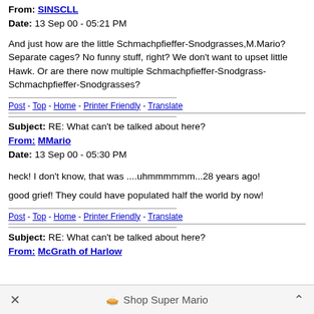From: SINSCLL
Date: 13 Sep 00 - 05:21 PM
And just how are the little Schmachpfieffer-Snodgrasses,M.Mario? Separate cages? No funny stuff, right? We don't want to upset little Hawk. Or are there now multiple Schmachpfieffer-Snodgrass-Schmachpfieffer-Snodgrasses?
Post - Top - Home - Printer Friendly - Translate
Subject: RE: What can't be talked about here?
From: MMario
Date: 13 Sep 00 - 05:30 PM
heck! I don't know, that was ....uhmmmmmm...28 years ago!
good grief! They could have populated half the world by now!
Post - Top - Home - Printer Friendly - Translate
Subject: RE: What can't be talked about here?
From: McGrath of Harlow
Shop Super Mario